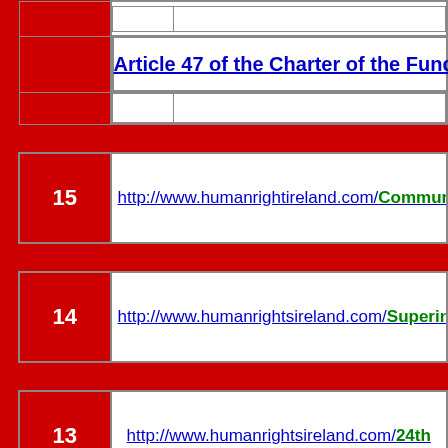|  | Article 47 of the Charter of the Fund... |
|  |  |
| 15 | http://www.humanrightsireland.com/Communicat... |
| 14 | http://www.humanrightsireland.com/Superin... |
| 13 | http://www.humanrightsireland.com/24th... |
| 12 | http://www.humanrightsireland.com/Dail3... |
| 11 | http://www.humanrightsireland.com/Dail3... |